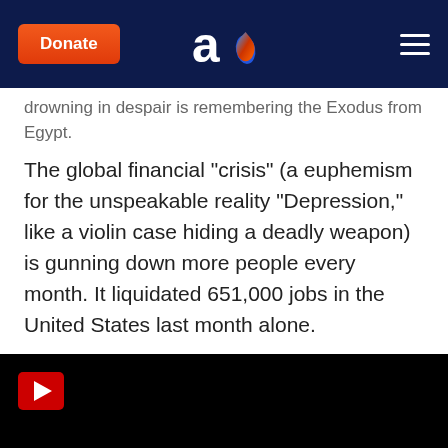Donate | Aish logo | Menu
drowning in despair is remembering the Exodus from Egypt.
The global financial "crisis" (a euphemism for the unspeakable reality "Depression," like a violin case hiding a deadly weapon) is gunning down more people every month. It liquidated 651,000 jobs in the United States last month alone.
[Figure (screenshot): Black video player with red play button in top-left corner]